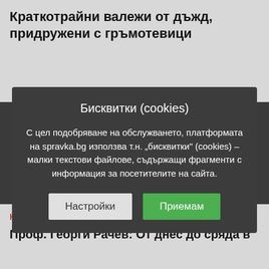Краткотрайни валежи от дъжд, придружени с гръмотевици
[Figure (screenshot): Cookie consent modal dialog with dark background, containing title 'Бисквитки (cookies)', descriptive text in Bulgarian, and two buttons: 'Настройки' (Settings) and 'Приемам' (Accept)]
НОВИНИ
Проф. Георги Рачев: От днес до сряда в